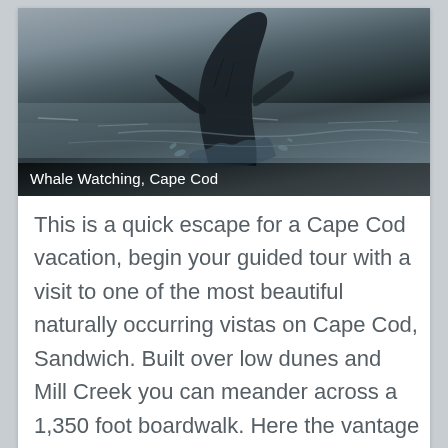[Figure (photo): Black and white photograph of a humpback whale breaching out of the ocean water, Cape Cod. The whale is shown mid-breach with water splashing around it against a grey sea and sky background.]
Whale Watching, Cape Cod
This is a quick escape for a Cape Cod vacation, begin your guided tour with a visit to one of the most beautiful naturally occurring vistas on Cape Cod, Sandwich. Built over low dunes and Mill Creek you can meander across a 1,350 foot boardwalk. Here the vantage point provides striking views of Cape Cod Bay